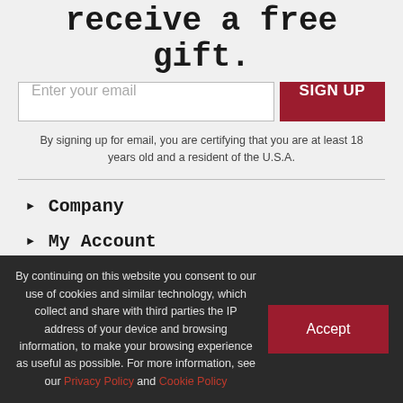receive a free gift.
[Figure (screenshot): Email signup form with text input placeholder 'Enter your email' and a red 'SIGN UP' button]
By signing up for email, you are certifying that you are at least 18 years old and a resident of the U.S.A.
Company
My Account
Support
By continuing on this website you consent to our use of cookies and similar technology, which collect and share with third parties the IP address of your device and browsing information, to make your browsing experience as useful as possible. For more information, see our Privacy Policy and Cookie Policy